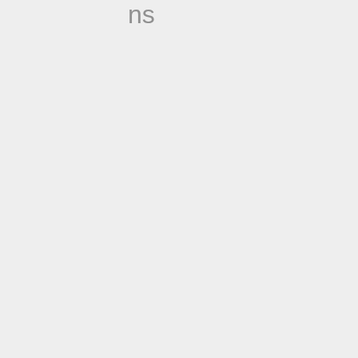ns
s
Report security issue
Forums
Modern slavery
Gender pay gap report
CCPA - Do not sell my